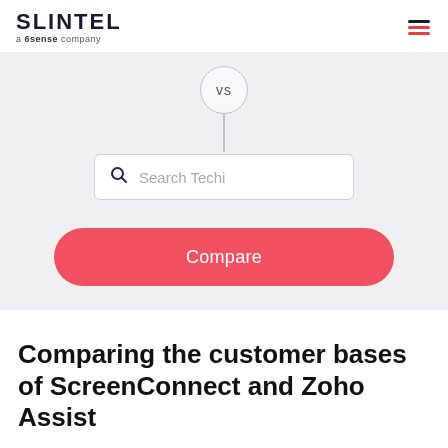SLINTEL a 6sense company
[Figure (screenshot): A UI search widget showing a 'vs' circle with a vertical line, a search input box with placeholder 'Search Techi', and a red rounded 'Compare' button, on a light grey background.]
Comparing the customer bases of ScreenConnect and Zoho Assist